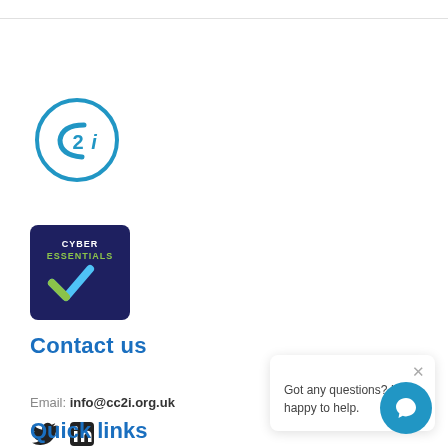[Figure (logo): C2i circular logo in blue]
[Figure (logo): Cyber Essentials badge — dark navy square with CYBER ESSENTIALS text and a blue/green checkmark]
Contact us
Email: info@cc2i.org.uk
[Figure (other): Twitter bird icon and LinkedIn square icon, both in dark color]
[Figure (other): Chat popup bubble with close X and text: Got any questions? I'm happy to help.]
Quick links
[Figure (other): Blue circular chat button with speech bubble icon]